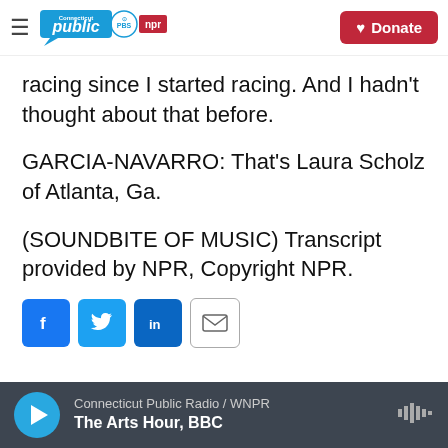Connecticut Public | PBS | NPR — Donate
racing since I started racing. And I hadn't thought about that before.
GARCIA-NAVARRO: That's Laura Scholz of Atlanta, Ga.
(SOUNDBITE OF MUSIC) Transcript provided by NPR, Copyright NPR.
[Figure (other): Social sharing buttons: Facebook, Twitter, LinkedIn, Email]
Connecticut Public Radio / WNPR — The Arts Hour, BBC